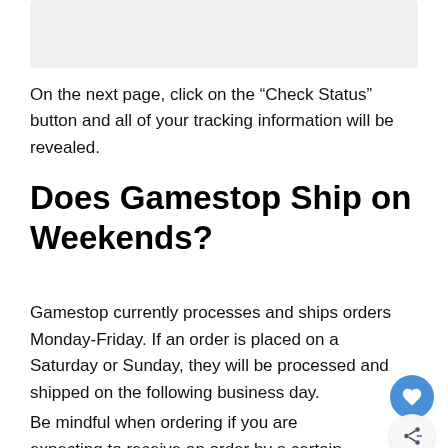[Figure (other): Gray placeholder image box at top of page]
On the next page, click on the “Check Status” button and all of your tracking information will be revealed.
Does Gamestop Ship on Weekends?
Gamestop currently processes and ships orders Monday-Friday. If an order is placed on a Saturday or Sunday, they will be processed and shipped on the following business day.
Be mindful when ordering if you are expecting to receive an order by a certain date. Ordering items on